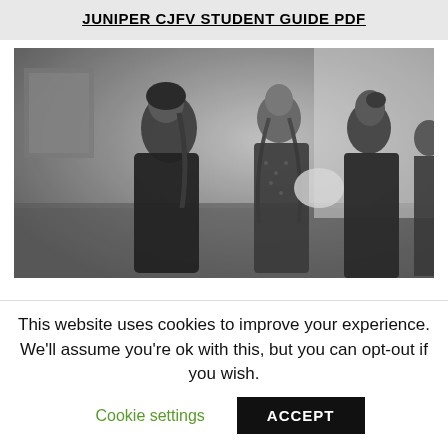JUNIPER CJFV STUDENT GUIDE PDF
[Figure (photo): Black and white photograph of three young women in dark clothing standing indoors, appearing to be in conversation. One woman on the left wears a head covering and has a long braid, the middle woman has braids, and the woman on the right faces them. There are posters or maps visible on the wall in the background.]
This website uses cookies to improve your experience. We'll assume you're ok with this, but you can opt-out if you wish.
Cookie settings
ACCEPT